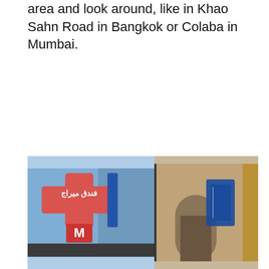area and look around, like in Khao Sahn Road in Bangkok or Colaba in Mumbai.
[Figure (photo): Street-level photograph showing two hotel/building signs. Left side shows an Arabic-script sign in red/pink with cross shape and letter M below, against a blue sky background. Right side shows a building facade with a blue sign partially visible.]